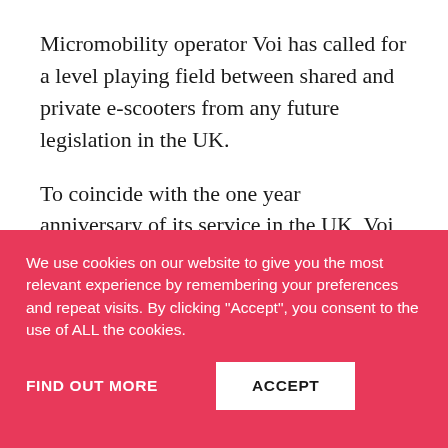Micromobility operator Voi has called for a level playing field between shared and private e-scooters from any future legislation in the UK.
To coincide with the one year anniversary of its service in the UK, Voi has issued six recommendations for
We use cookies on our website to give you the most relevant experience by remembering your preferences and repeat visits. By clicking “Accept”, you consent to the use of ALL the cookies.
FIND OUT MORE
ACCEPT